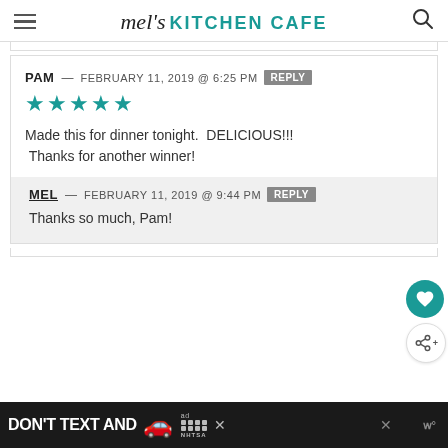mel's KITCHEN CAFE
PAM — FEBRUARY 11, 2019 @ 6:25 PM REPLY
★★★★★
Made this for dinner tonight.  DELICIOUS!!!
 Thanks for another winner!
MEL — FEBRUARY 11, 2019 @ 9:44 PM REPLY
Thanks so much, Pam!
[Figure (screenshot): Ad banner: DON'T TEXT AND [car emoji] with NHTSA logo, close buttons]